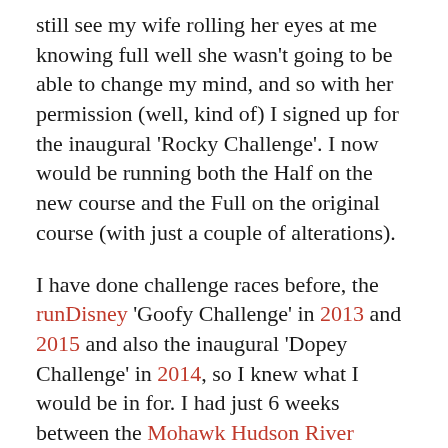still see my wife rolling her eyes at me knowing full well she wasn't going to be able to change my mind, and so with her permission (well, kind of) I signed up for the inaugural 'Rocky Challenge'. I now would be running both the Half on the new course and the Full on the original course (with just a couple of alterations).
I have done challenge races before, the runDisney 'Goofy Challenge' in 2013 and 2015 and also the inaugural 'Dopey Challenge' in 2014, so I knew what I would be in for. I had just 6 weeks between the Mohawk Hudson River Marathon and the Philadelphia Marathon weekend so I adjusted my current plan (2 weeks recovery, 2 weeks training, 2 weeks taper) to make sure that my weekend runs were simulations for race weekend, i.e. my Saturday run would be at least half the distance of the Sunday run so I was doing the same